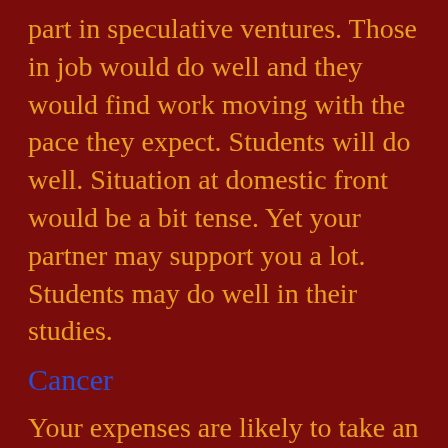part in speculative ventures. Those in job would do well and they would find work moving with the pace they expect. Students will do well. Situation at domestic front would be a bit tense. Yet your partner may support you a lot. Students may do well in their studies.
Cancer
Your expenses are likely to take an upwards swing. Working people would be doing well and some of you may be appreciated for their achievements. The issues that had been pending for long may be sorted out. Family situations would